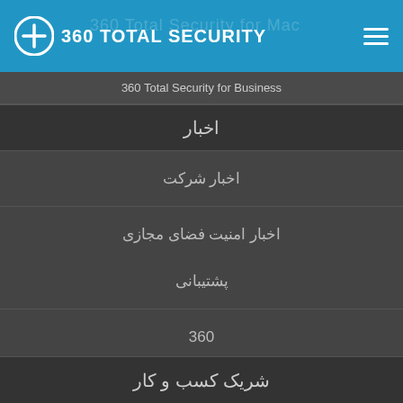360 Total Security
360 Total Security for Business
اخبار
اخبار شرکت
اخبار امنیت فضای مجازی
اطلاعات مطبوعات
وب‌نوشت
Investor Announcement
ارتباط با ما
پشتیبانی
360
شریک کسب و کار